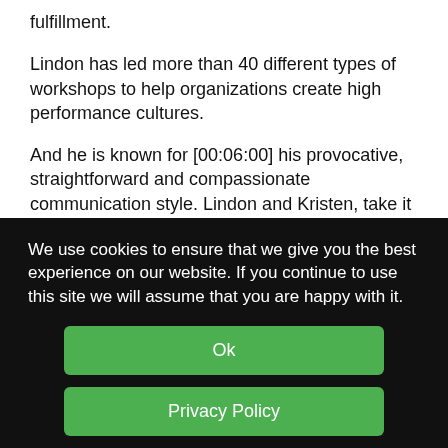fulfillment.
Lindon has led more than 40 different types of workshops to help organizations create high performance cultures.
And he is known for [00:06:00] his provocative, straightforward and compassionate communication style. Lindon and Kristen, take it away.
We use cookies to ensure that we give you the best experience on our website. If you continue to use this site we will assume that you are happy with it.
Ok
Privacy Policy